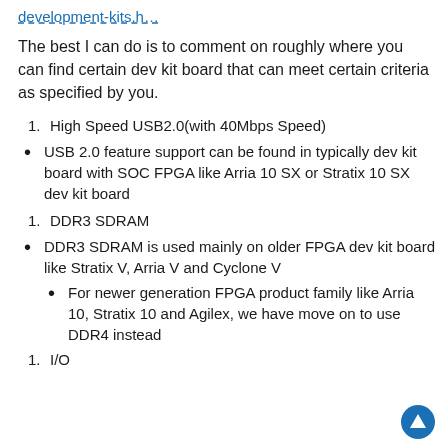development-kits.h…
The best I can do is to comment on roughly where you can find certain dev kit board that can meet certain criteria as specified by you.
1. High Speed USB2.0(with 40Mbps Speed)
• USB 2.0 feature support can be found in typically dev kit board with SOC FPGA like Arria 10 SX or Stratix 10 SX dev kit board
1. DDR3 SDRAM
• DDR3 SDRAM is used mainly on older FPGA dev kit board like Stratix V, Arria V and Cyclone V
• For newer generation FPGA product family like Arria 10, Stratix 10 and Agilex, we have move on to use DDR4 instead
1. I/O… (partial, cut off)